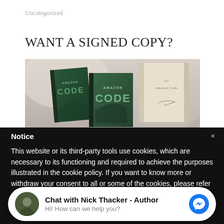Uncategorized
WANT A SIGNED COPY?
[Figure (photo): Three copies of a book titled 'Amazon Code' — two paperback editions in green covers and one hardcover in a cream/beige slipcase — arranged on a neutral background.]
Notice
This website or its third-party tools use cookies, which are necessary to its functioning and required to achieve the purposes illustrated in the cookie policy. If you want to know more or withdraw your consent to all or some of the cookies, please refer
Chat with Nick Thacker - Author
Hi! How can we help you?